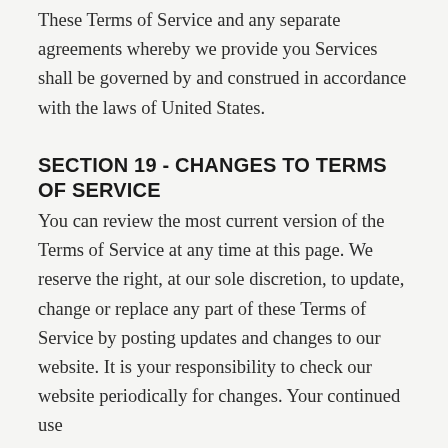These Terms of Service and any separate agreements whereby we provide you Services shall be governed by and construed in accordance with the laws of United States.
SECTION 19 - CHANGES TO TERMS OF SERVICE
You can review the most current version of the Terms of Service at any time at this page. We reserve the right, at our sole discretion, to update, change or replace any part of these Terms of Service by posting updates and changes to our website. It is your responsibility to check our website periodically for changes. Your continued use